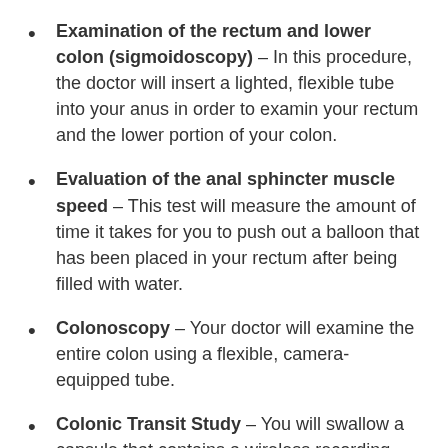Examination of the rectum and lower colon (sigmoidoscopy) – In this procedure, the doctor will insert a lighted, flexible tube into your anus in order to examin your rectum and the lower portion of your colon.
Evaluation of the anal sphincter muscle speed – This test will measure the amount of time it takes for you to push out a balloon that has been placed in your rectum after being filled with water.
Colonoscopy – Your doctor will examine the entire colon using a flexible, camera-equipped tube.
Colonic Transit Study – You will swallow a capsule that contains a wireless recording device or a radiopaque marker. The progress of the capsule through the colon is recorded over 24-48 hours and will be visible on x-rays. Sometimes you will eat food that has been radiocarbon-activated and a special camera will record its progress. Your doctor